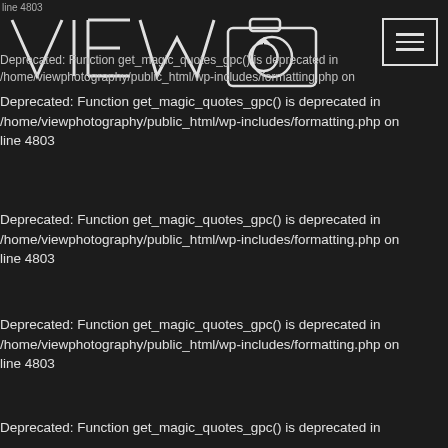[Figure (logo): VIEW photography logo with camera icon outline in white on dark background, and hamburger menu button top right]
Deprecated: Function get_magic_quotes_gpc() is deprecated in /home/viewphotography/public_html/wp-includes/formatting.php on line 4803
Deprecated: Function get_magic_quotes_gpc() is deprecated in /home/viewphotography/public_html/wp-includes/formatting.php on line 4803
Deprecated: Function get_magic_quotes_gpc() is deprecated in /home/viewphotography/public_html/wp-includes/formatting.php on line 4803
Deprecated: Function get_magic_quotes_gpc() is deprecated in /home/viewphotography/public_html/wp-includes/formatting.php on line 4803
Deprecated: Function get_magic_quotes_gpc() is deprecated in